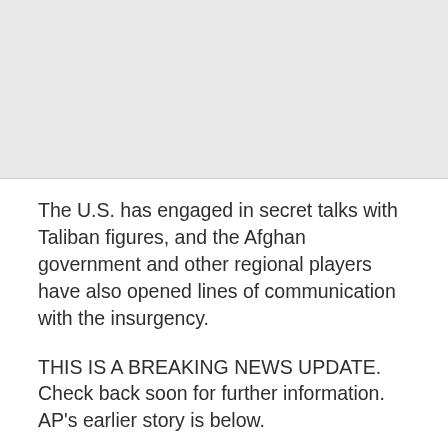[Figure (other): Gray placeholder box at the top of the page]
The U.S. has engaged in secret talks with Taliban figures, and the Afghan government and other regional players have also opened lines of communication with the insurgency.
THIS IS A BREAKING NEWS UPDATE. Check back soon for further information. AP's earlier story is below.
KABUL, Afghanistan (AP) — An Afghan defense